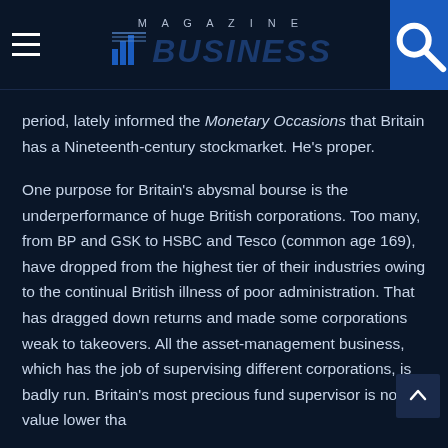MAGAZINE BUSINESS
period, lately informed the Monetary Occasions that Britain has a Nineteenth-century stockmarket. He's proper.
One purpose for Britain's abysmal bourse is the underperformance of huge British corporations. Too many, from BP and GSK to HSBC and Tesco (common age 169), have dropped from the highest tier of their industries owing to the continual British illness of poor administration. That has dragged down returns and made some corporations weak to takeovers. All the asset-management business, which has the job of supervising different corporations, is badly run. Britain's most precious fund supervisor is now value lower than 10% of America's largest. British pension schemes have spent years loading up on bonds and promoting shares